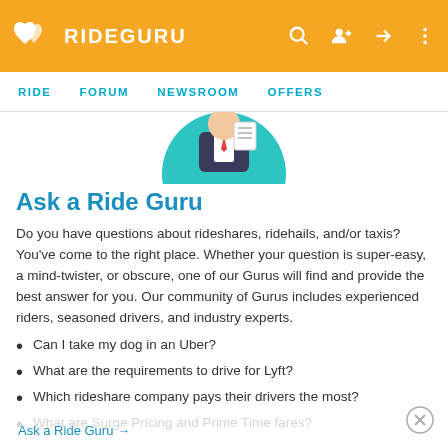RIDEGURU — RIDE | FORUM | NEWSROOM | OFFERS
[Figure (illustration): Circular teal illustration of a person in a suit holding a document or clipboard, partially cropped at top]
Ask a Ride Guru
Do you have questions about rideshares, ridehails, and/or taxis? You've come to the right place. Whether your question is super-easy, a mind-twister, or obscure, one of our Gurus will find and provide the best answer for you. Our community of Gurus includes experienced riders, seasoned drivers, and industry experts.
Can I take my dog in an Uber?
What are the requirements to drive for Lyft?
Which rideshare company pays their drivers the most?
What are Surge Pricing and Prime Time fares?
Ask a Ride Guru →